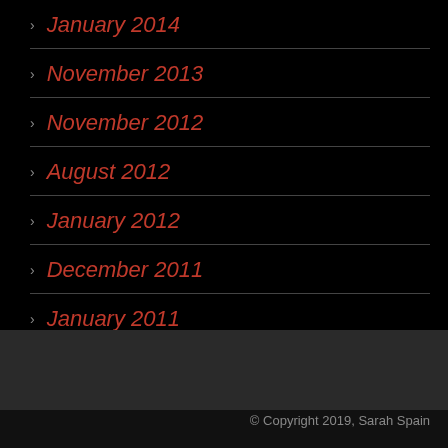January 2014
November 2013
November 2012
August 2012
January 2012
December 2011
January 2011
© Copyright 2019, Sarah Spain